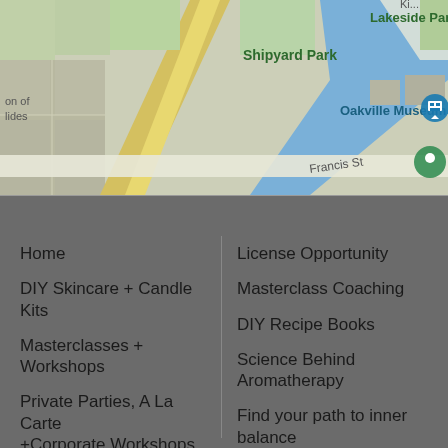[Figure (map): Google Maps screenshot showing Shipyard Park, Oakville Museum, Francis St, Lakeside Par (partially visible), and a road with yellow and blue markings]
Home
DIY Skincare + Candle Kits
Masterclasses + Workshops
Private Parties, A La Carte +Corporate Workshops
DIY Ingredient Shop
Customer Service
License Opportunity
Masterclass Coaching
DIY Recipe Books
Science Behind Aromatherapy
Find your path to inner balance
Privacy Policy